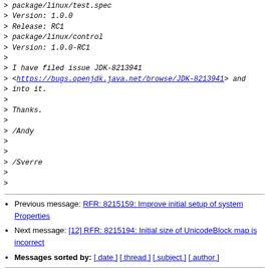> package/linux/test.spec
> Version: 1.0.0
> Release: RC1
> package/linux/control
> Version: 1.0.0-RC1
>
> I have filed issue JDK-8213941
> <https://bugs.openjdk.java.net/browse/JDK-8213941> and
> into it.
>
> Thanks.
>
> /Andy
>
>
> /Sverre
>
>
Previous message: RFR: 8215159: Improve initial setup of system Properties
Next message: [12] RFR: 8215194: Initial size of UnicodeBlock map is incorrect
Messages sorted by: [ date ] [ thread ] [ subject ] [ author ]
More information about the core-libs-dev mailing list